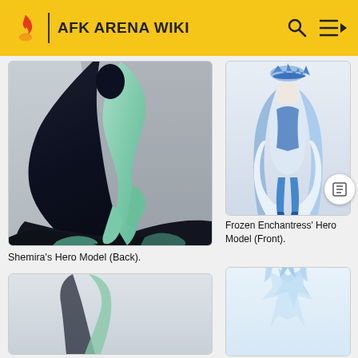AFK ARENA WIKI
[Figure (illustration): Shemira character back view — dark flowing dress with teal/mint long hair]
Shemira's Hero Model (Back).
[Figure (illustration): Partial bottom of another character illustration, mostly white/light background]
[Figure (illustration): Frozen Enchantress character front view — blue and white outfit with ornate headdress]
Frozen Enchantress' Hero Model (Front).
[Figure (illustration): Partial view of another character — light blue/white feathery design, top portion only visible]